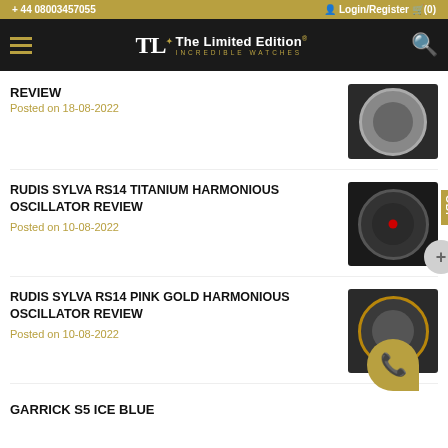+ 44 08003457055  Login/Register (0)
[Figure (logo): The Limited Edition INCREDIBLE WATCHES logo with hamburger menu and search icon on dark background]
REVIEW
Posted on 18-08-2022
RUDIS SYLVA RS14 TITANIUM HARMONIOUS OSCILLATOR REVIEW
Posted on 10-08-2022
RUDIS SYLVA RS14 PINK GOLD HARMONIOUS OSCILLATOR REVIEW
Posted on 10-08-2022
GARRICK S5 ICE BLUE